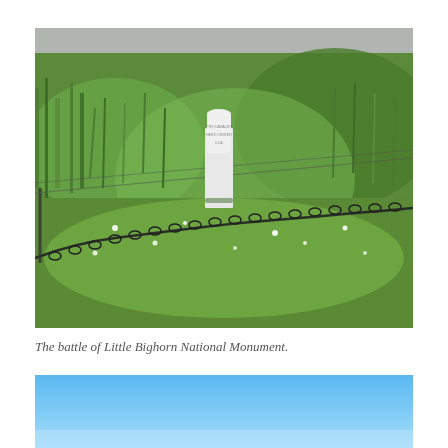[Figure (photo): A photograph of a white military grave marker standing amid green grass and wildflowers at the Little Bighorn National Monument battlefield site. A dark chain fence runs diagonally in the foreground, with a road visible in the background.]
The battle of Little Bighorn National Monument.
[Figure (photo): A partial photograph showing a blue sky scene, cropped at the bottom of the page.]